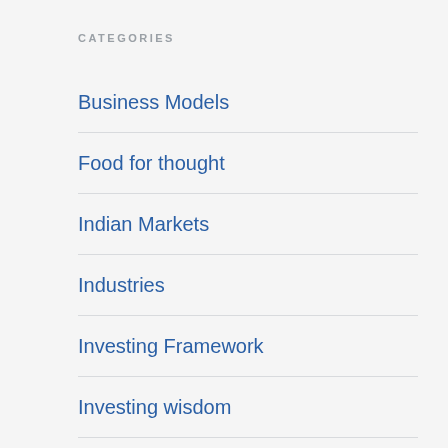CATEGORIES
Business Models
Food for thought
Indian Markets
Industries
Investing Framework
Investing wisdom
Investment Gurus
Investor Meetup
IPO